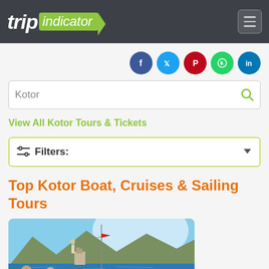trip indicator
Social share icons: Facebook, Twitter, Pinterest, WhatsApp, LinkedIn
Kotor (search box)
View All Kotor Tours & Tickets
Filters:
Top Kotor Boat, Cruises & Sailing Tours
[Figure (photo): Sailing boat deck in foreground with people, blue bay water, mountainous coastline, historic building, bright sky, Kotor Bay Montenegro]